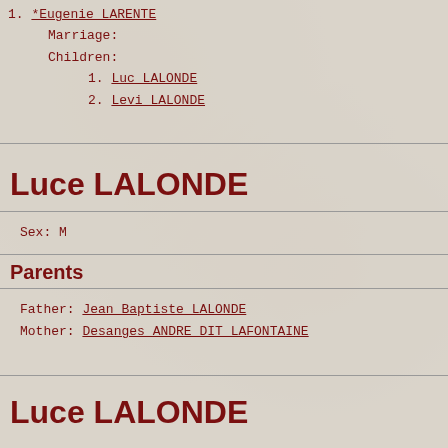1. *Eugenie LARENTE
    Marriage:
    Children:
        1. Luc LALONDE
        2. Levi LALONDE
Luce LALONDE
Sex: M
Parents
Father: Jean Baptiste LALONDE
Mother: Desanges ANDRE DIT LAFONTAINE
Luce LALONDE